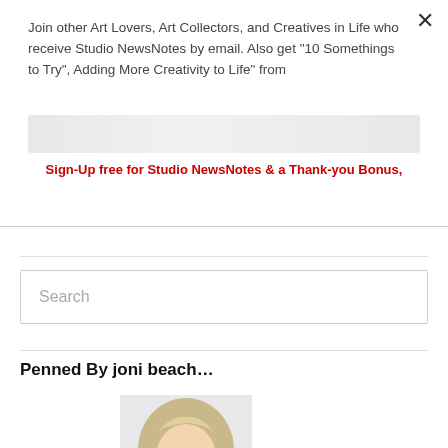×
Join other Art Lovers, Art Collectors, and Creatives in Life who receive Studio NewsNotes by email. Also get "10 Somethings to Try", Adding More Creativity to Life" from
[Figure (other): Blurred/obscured text band (author or site name, partially hidden)]
Sign-Up free for Studio NewsNotes & a Thank-you Bonus,
Search
Penned By joni beach…
[Figure (photo): A woman with long blonde hair smiling and looking downward, against a light background]